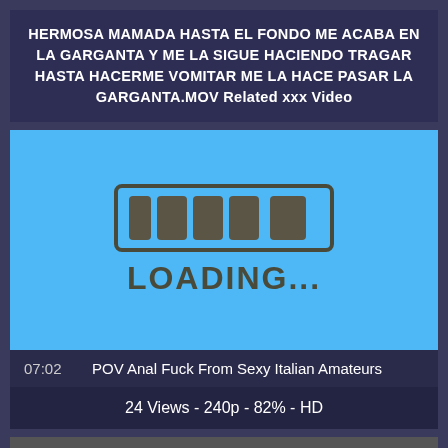HERMOSA MAMADA HASTA EL FONDO ME ACABA EN LA GARGANTA Y ME LA SIGUE HACIENDO TRAGAR HASTA HACERME VOMITAR ME LA HACE PASAR LA GARGANTA.MOV Related xxx Video
[Figure (screenshot): Video loading screen with blue background showing a loading bar graphic with dark segments and text LOADING...]
07:02    POV Anal Fuck From Sexy Italian Amateurs
24 Views - 240p - 82% - HD
[Figure (photo): Partial thumbnail strip at bottom of page]